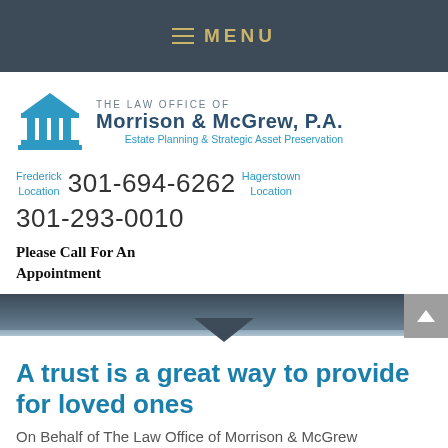MENU
[Figure (logo): The Law Office of Morrison & McGrew, P.A. logo with blue courthouse icon and text. Estate Planning & Strategic Asset Preservation tagline.]
Frederick Location  301-694-6262  Hagerstown Location
301-293-0010
Please Call For An Appointment
A trust is a great way to provide for loved ones
On Behalf of The Law Office of Morrison & McGrew